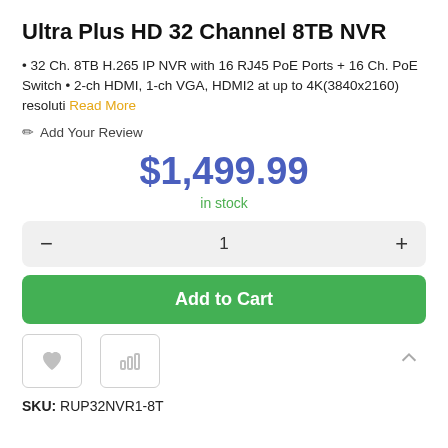Ultra Plus HD 32 Channel 8TB NVR
32 Ch. 8TB H.265 IP NVR with 16 RJ45 PoE Ports + 16 Ch. PoE Switch • 2-ch HDMI, 1-ch VGA, HDMI2 at up to 4K(3840x2160) resoluti Read More
✏ Add Your Review
$1,499.99
in stock
— 1 +
Add to Cart
SKU: RUP32NVR1-8T